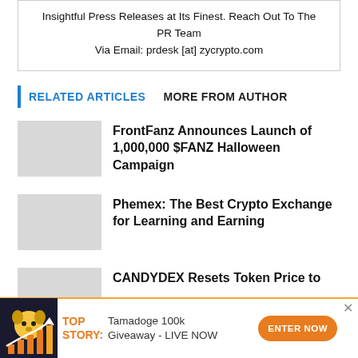Insightful Press Releases at Its Finest. Reach Out To The PR Team Via Email: prdesk [at] zycrypto.com
RELATED ARTICLES   MORE FROM AUTHOR
FrontFanz Announces Launch of 1,000,000 $FANZ Halloween Campaign
Phemex: The Best Crypto Exchange for Learning and Earning
CANDYDEX Resets Token Price to ...
TOP STORY: Tamadoge 100k Giveaway - LIVE NOW
ENTER NOW